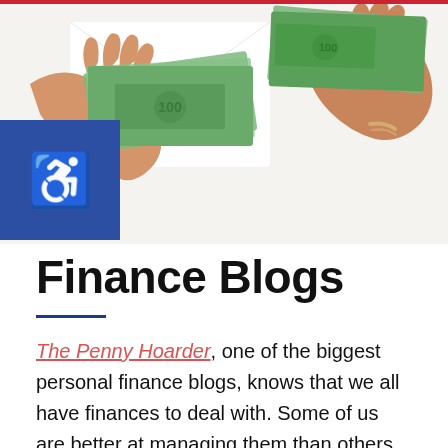[Figure (photo): Hands holding and counting US dollar bills on a white surface, overhead view]
Finance Blogs
The Penny Hoarder, one of the biggest personal finance blogs, knows that we all have finances to deal with. Some of us are better at managing them than others. Some people are concerned about investing, saving for retirement, frugal living, couponing, paying off student